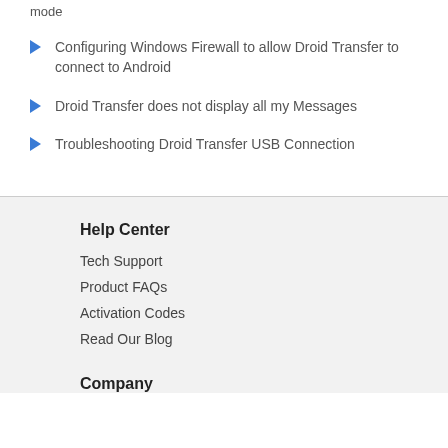mode
Configuring Windows Firewall to allow Droid Transfer to connect to Android
Droid Transfer does not display all my Messages
Troubleshooting Droid Transfer USB Connection
Help Center
Tech Support
Product FAQs
Activation Codes
Read Our Blog
Company